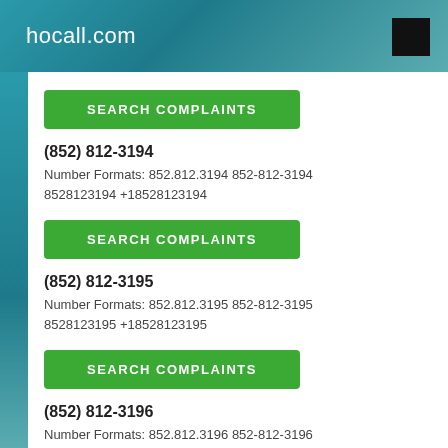hocall.com
SEARCH COMPLAINTS
(852) 812-3194
Number Formats: 852.812.3194 852-812-3194 8528123194 +18528123194
SEARCH COMPLAINTS
(852) 812-3195
Number Formats: 852.812.3195 852-812-3195 8528123195 +18528123195
SEARCH COMPLAINTS
(852) 812-3196
Number Formats: 852.812.3196 852-812-3196 8528123196 +18528123196